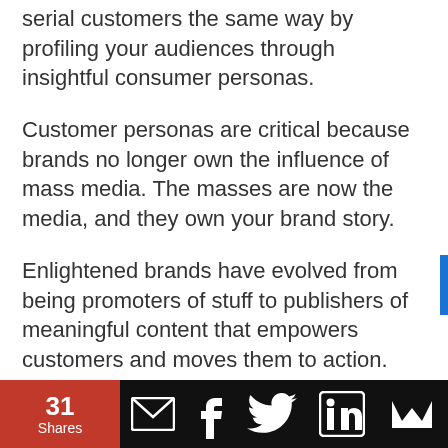serial customers the same way by profiling your audiences through insightful consumer personas.
Customer personas are critical because brands no longer own the influence of mass media. The masses are now the media, and they own your brand story.
Enlightened brands have evolved from being promoters of stuff to publishers of meaningful content that empowers customers and moves them to action.
But it only works if you know your audience
31 Shares